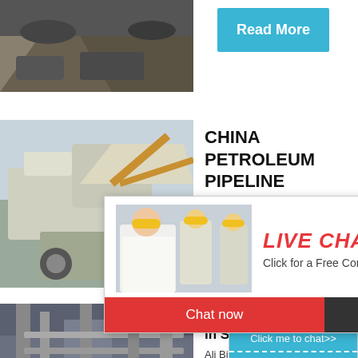[Figure (photo): Mining/industrial site with vehicles and mounds of material]
Read More
[Figure (photo): Heavy mining machinery and equipment on-site]
CHINA PETROLEUM PIPELINE ENGINEERING CO.
[Figure (photo): Live chat overlay with smiling worker and colleagues in hard hats]
LIVE CHAT
Click for a Free Consultation
Chat now
Chat later
hour online
[Figure (photo): Industrial crushing machine on blue background]
Click me to chat>>
Enquiry
limingjlmofen
[Figure (photo): Industrial plant interior with large pipes and equipment]
Electric [partially obscured] st in Saud [partially obscured]
Ali Bin Ab [partially obscured]